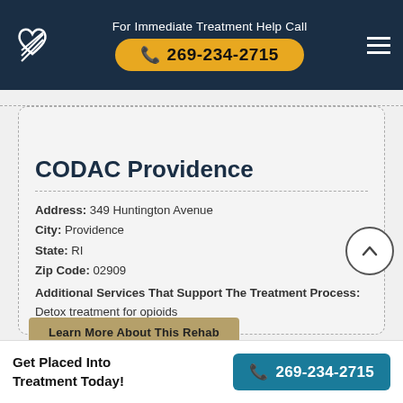For Immediate Treatment Help Call 269-234-2715
CODAC Providence
Address: 349 Huntington Avenue
City: Providence
State: RI
Zip Code: 02909
Additional Services That Support The Treatment Process: Detox treatment for opioids
Learn More About This Rehab
Get Placed Into Treatment Today! 269-234-2715